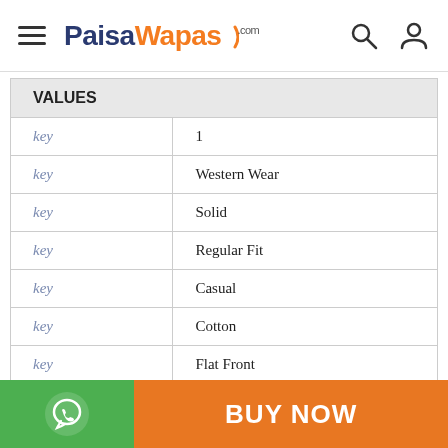PaisaWapas.com
| VALUES |  |
| --- | --- |
| key | 1 |
| key | Western Wear |
| key | Solid |
| key | Regular Fit |
| key | Casual |
| key | Cotton |
| key | Flat Front |
| key | Cold Wash |
BUY NOW